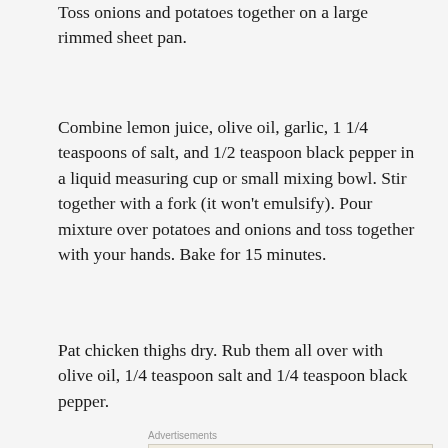Toss onions and potatoes together on a large rimmed sheet pan.
Combine lemon juice, olive oil, garlic, 1 1/4 teaspoons of salt, and 1/2 teaspoon black pepper in a liquid measuring cup or small mixing bowl. Stir together with a fork (it won't emulsify). Pour mixture over potatoes and onions and toss together with your hands. Bake for 15 minutes.
Pat chicken thighs dry. Rub them all over with olive oil, 1/4 teaspoon salt and 1/4 teaspoon black pepper.
[Figure (other): WordPress advertisement: Professionally designed sites in less than a week]
[Figure (other): MAC Cosmetics advertisement with lipsticks and SHOP NOW button]